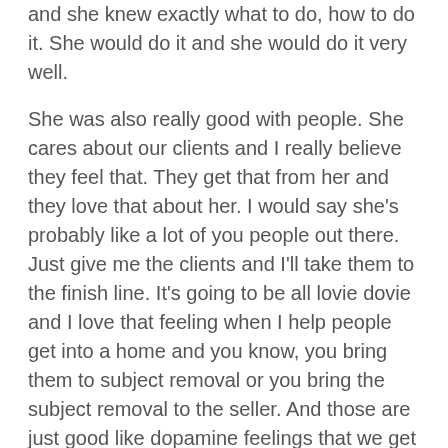and she knew exactly what to do, how to do it. She would do it and she would do it very well.
She was also really good with people. She cares about our clients and I really believe they feel that. They get that from her and they love that about her. I would say she's probably like a lot of you people out there. Just give me the clients and I'll take them to the finish line. It's going to be all lovie dovie and I love that feeling when I help people get into a home and you know, you bring them to subject removal or you bring the subject removal to the seller. And those are just good like dopamine feelings that we get to feel in this business. And yes, we get addicted to that. It's a great feeling when we help people achieve what they want to achieve and they're all excited. And in some cases we've actually helped people literally change their lives financially and lots of different other ways.
So it's a great business and all those wonderful things. But when there were things that were uncomfortable